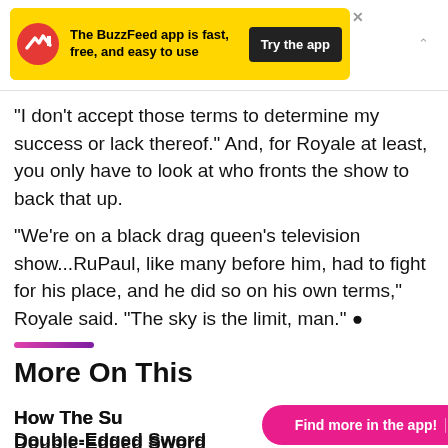[Figure (screenshot): BuzzFeed app advertisement banner with yellow background, BuzzFeed logo (white arrow on red circle), text 'The BuzzFeed app is fast, free, and easy to use', black 'Try the app' button, and close X button]
"I don't accept those terms to determine my success or lack thereof." And, for Royale at least, you only have to look at who fronts the show to back that up.
"We're on a black drag queen's television show...RuPaul, like many before him, had to fight for his place, and he did so on his own terms," Royale said. "The sky is the limit, man." ●
More On This
How The Suc ace" Is A Double-Edged Sword
[Figure (screenshot): Pink pill-shaped overlay button reading 'Find more in the app!' with an X close button]